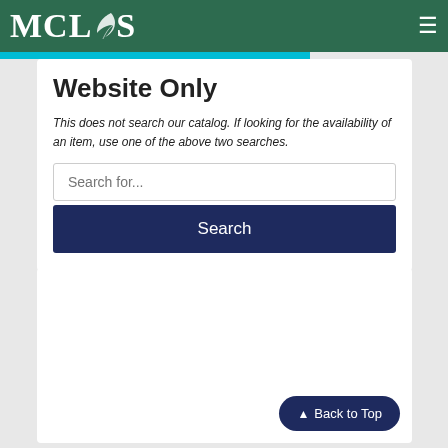MCLS
Website Only
This does not search our catalog. If looking for the availability of an item, use one of the above two searches.
[Figure (screenshot): Search input box with placeholder text 'Search for...' and a dark navy Search button below it.]
[Figure (screenshot): White card section, mostly empty, with a 'Back to Top' button in the bottom right corner.]